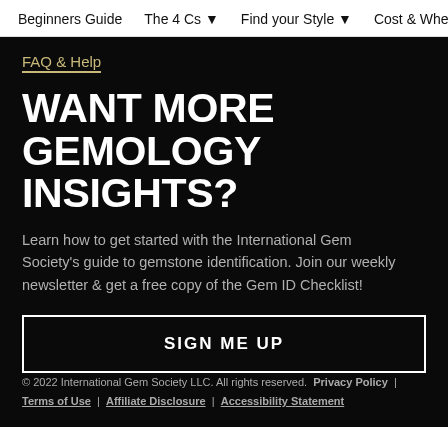Beginners Guide  The 4 Cs ▼  Find your Style ▼  Cost & Where to
FAQ & Help
WANT MORE GEMOLOGY INSIGHTS?
Learn how to get started with the International Gem Society's guide to gemstone identification. Join our weekly newsletter & get a free copy of the Gem ID Checklist!
SIGN ME UP
© 2022 International Gem Society LLC. All rights reserved.  Privacy Policy  |  Terms of Use  |  Affiliate Disclosure  |  Accessibility Statement